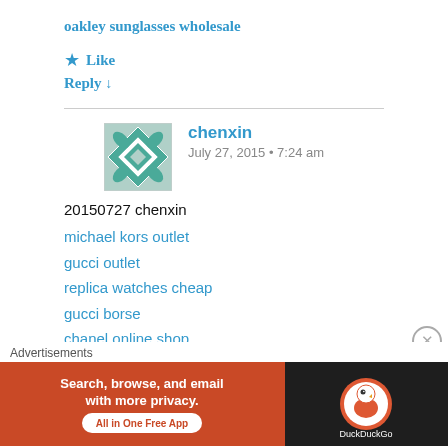oakley sunglasses wholesale
★ Like
Reply ↓
chenxin
July 27, 2015 • 7:24 am
20150727 chenxin
michael kors outlet
gucci outlet
replica watches cheap
gucci borse
chanel online shop
michael kors bag
coach outlet online
cheap jordans for sale
Advertisements
[Figure (other): DuckDuckGo advertisement banner: orange/dark background with text 'Search, browse, and email with more privacy. All in One Free App' and DuckDuckGo logo]